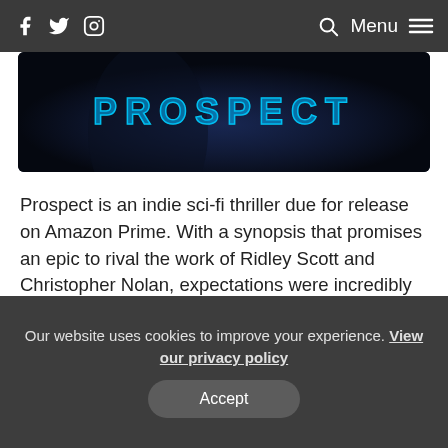f  [twitter]  [instagram]   [search]  Menu
[Figure (photo): Movie banner image showing the title 'PROSPECT' in neon blue text on a dark sci-fi background]
Prospect is an indie sci-fi thriller due for release on Amazon Prime. With a synopsis that promises an epic to rival the work of Ridley Scott and Christopher Nolan, expectations were incredibly high. And while this doesn't really come close to these lofty ideals, for a low budget sci-fi it's surprisingly good.
The film is set at an unknown time in an unknown part of space. Whatever era, humans have discovered space travel
Our website uses cookies to improve your experience. View our privacy policy
Accept